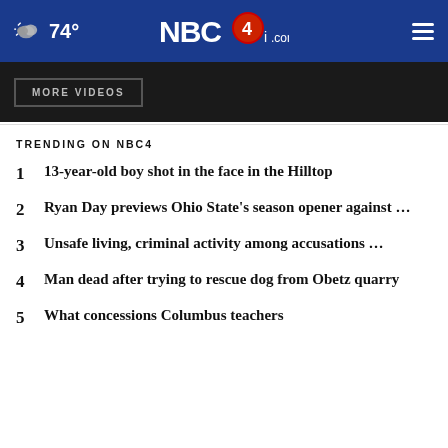74° NBC4i.com
MORE VIDEOS
TRENDING ON NBC4
1  13-year-old boy shot in the face in the Hilltop
2  Ryan Day previews Ohio State's season opener against …
3  Unsafe living, criminal activity among accusations …
4  Man dead after trying to rescue dog from Obetz quarry
5  What concessions Columbus teachers …